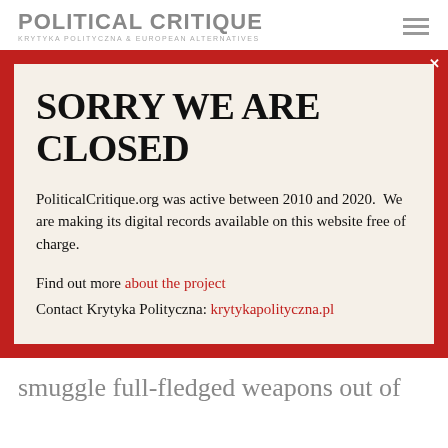POLITICAL CRITIQUE
KRYTYKA POLITYCZNA & EUROPEAN ALTERNATIVES
SORRY WE ARE CLOSED
PoliticalCritique.org was active between 2010 and 2020.  We are making its digital records available on this website free of charge.
Find out more about the project
Contact Krytyka Polityczna: krytykapolityczna.pl
smuggle full-fledged weapons out of

the country, not just the materials